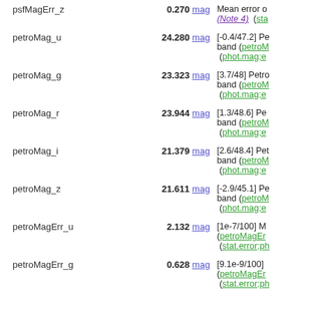| Field | Value | Description |
| --- | --- | --- |
| psfMagErr_z | 0.270 mag | Mean error on... (Note 4) (sta... |
| petroMag_u | 24.280 mag | [-0.4/47.2] Pe... band (petroM... (phot.mag;e... |
| petroMag_g | 23.323 mag | [3.7/48] Petro... band (petroM... (phot.mag;e... |
| petroMag_r | 23.944 mag | [1.3/48.6] Pet... band (petroM... (phot.mag;e... |
| petroMag_i | 21.379 mag | [2.6/48.4] Pet... band (petroM... (phot.mag;e... |
| petroMag_z | 21.611 mag | [-2.9/45.1] Pe... band (petroM... (phot.mag;e... |
| petroMagErr_u | 2.132 mag | [1e-7/100] M... (petroMagEr... (stat.error;ph... |
| petroMagErr_g | 0.628 mag | [9.1e-9/100] ... (petroMagEr... (stat.error;ph... |